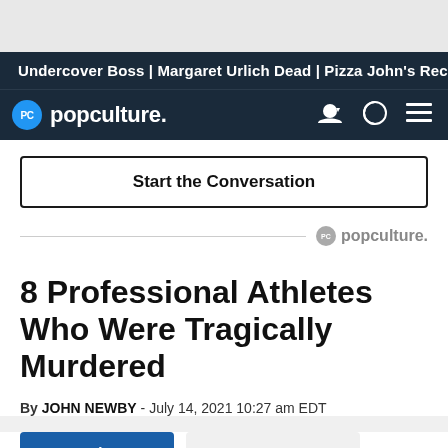Undercover Boss | Margaret Urlich Dead | Pizza John's Recal
[Figure (logo): Popculture.com logo in dark navy navigation bar with user icon, brightness icon, and hamburger menu]
Start the Conversation
[Figure (logo): Popculture.com small logo with divider line]
8 Professional Athletes Who Were Tragically Murdered
By JOHN NEWBY - July 14, 2021 10:27 am EDT
Share   0 Comments